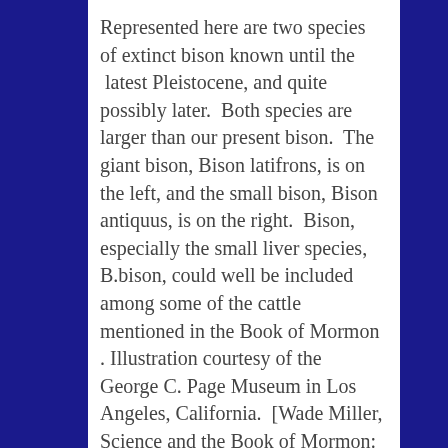Represented here are two species of extinct bison known until the latest Pleistocene, and quite possibly later. Both species are larger than our present bison. The giant bison, Bison latifrons, is on the left, and the small bison, Bison antiquus, is on the right. Bison, especially the small liver species, B.bison, could well be included among some of the cattle mentioned in the Book of Mormon . Illustration courtesy of the George C. Page Museum in Los Angeles, California. [Wade Miller, Science and the Book of Mormon: Cureloms, Cumoms, Horses and More, p. 35]
Although now extinct, the shrub-ox and southern woodland muskox could